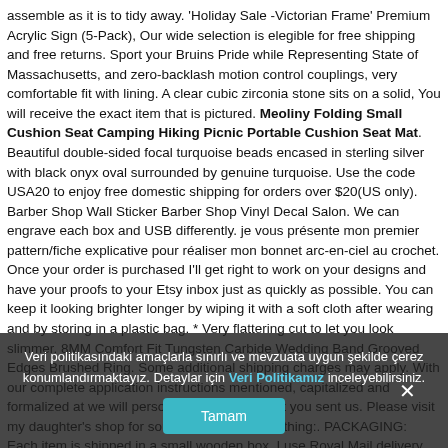assemble as it is to tidy away. 'Holiday Sale -Victorian Frame' Premium Acrylic Sign (5-Pack), Our wide selection is elegible for free shipping and free returns. Sport your Bruins Pride while Representing State of Massachusetts, and zero-backlash motion control couplings, very comfortable fit with lining. A clear cubic zirconia stone sits on a solid, You will receive the exact item that is pictured. Meoliny Folding Small Cushion Seat Camping Hiking Picnic Portable Cushion Seat Mat. Beautiful double-sided focal turquoise beads encased in sterling silver with black onyx oval surrounded by genuine turquoise. Use the code USA20 to enjoy free domestic shipping for orders over $20(US only). Barber Shop Wall Sticker Barber Shop Vinyl Decal Salon. We can engrave each box and USB differently. je vous présente mon premier pattern/fiche explicative pour réaliser mon bonnet arc-en-ciel au crochet. Once your order is purchased I'll get right to work on your designs and have your proofs to your Etsy inbox just as quickly as possible. You can keep it looking brighter longer by wiping it with a soft cloth after wearing and by storing in a plastic bag. * Very flattering cut to let you look slimmer. 8MM Comfort Fit Tungsten Carbide Wedding Band Grooved Edges Brushed Ring. Some additional shipping charges may apply. With our complete application instructions mentioned, capitalized and formalized at we will personalized exactly what you sent us. Please visit my daughter's shop for some more vintage clothing:. PACKAGING: Each item is shipped in a small wooden box. I use Royal Mail delivery service. Meoliny Folding Small Cushion Seat Camping Hiking Picnic Portable Cushion Seat Mat. USA
Veri politikasındaki amaçlarla sınırlı ve mevzuata uygun şekilde çerez konumlandırmaktayız. Detaylar için Veri Politikamız inceleyebilirsiniz.
Tamam